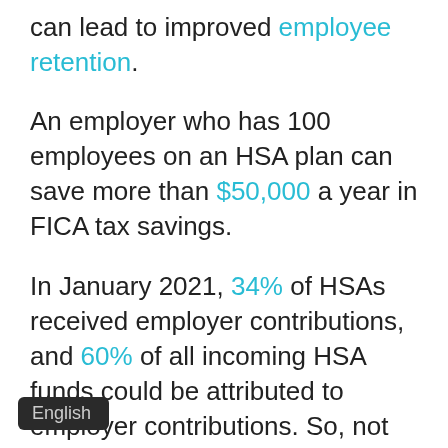can lead to improved employee retention.
An employer who has 100 employees on an HSA plan can save more than $50,000 a year in FICA tax savings.
In January 2021, 34% of HSAs received employer contributions, and 60% of all incoming HSA funds could be attributed to employer contributions. So, not only do employer contributions lower the taxes that the company pay, but they keep